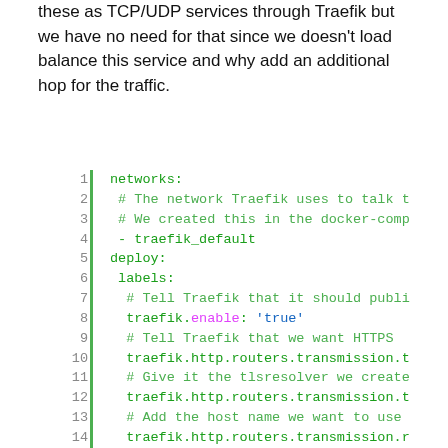these as TCP/UDP services through Traefik but we have no need for that since we doesn't load balance this service and why add an additional hop for the traffic.
[Figure (screenshot): Code block showing Docker Compose YAML configuration with line numbers 1–21, featuring network and deploy label settings for Traefik. Green left border accent. Comments in green, keywords in green, 'enable' in pink, 'true' in blue.]